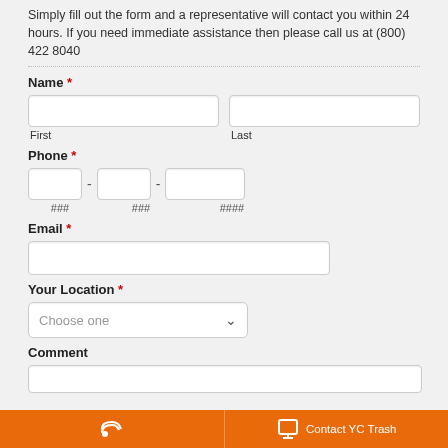Simply fill out the form and a representative will contact you within 24 hours. If you need immediate assistance then please call us at (800) 422 8040
Name *
First
Last
Phone *
###
###
####
Email *
Your Location *
Choose one
Comment
Contact YC Trash